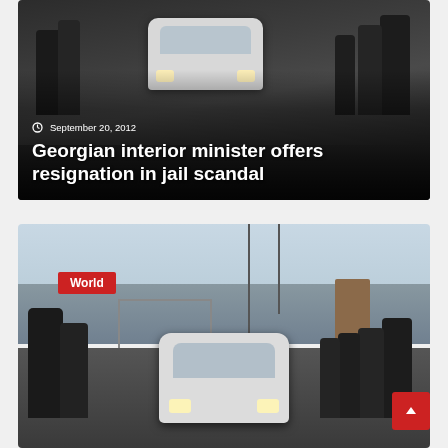[Figure (photo): Outdoor scene with people and white Toyota SUV, dark urban setting. Date overlay: September 20, 2012. Headline overlay: Georgian interior minister offers resignation in jail scandal.]
[Figure (photo): Outdoor scene with white Toyota SUV at a gate/checkpoint, people gathered around. World category tag in upper left. Scroll-to-top button in bottom right.]